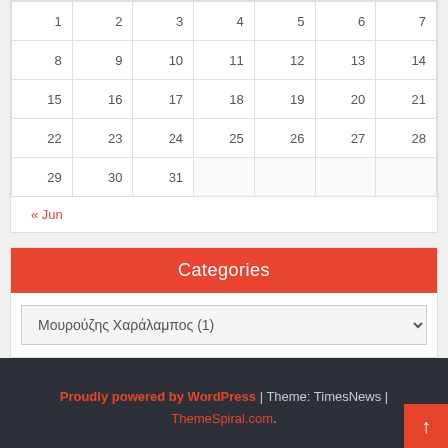| 1 | 2 | 3 | 4 | 5 | 6 | 7 |
| 8 | 9 | 10 | 11 | 12 | 13 | 14 |
| 15 | 16 | 17 | 18 | 19 | 20 | 21 |
| 22 | 23 | 24 | 25 | 26 | 27 | 28 |
| 29 | 30 | 31 |  |  |  |  |
« Jun
Categories
Μουρούζης Χαράλαμπος  (1)
Proudly powered by WordPress | Theme: TimesNews | ThemeSpiral.com.